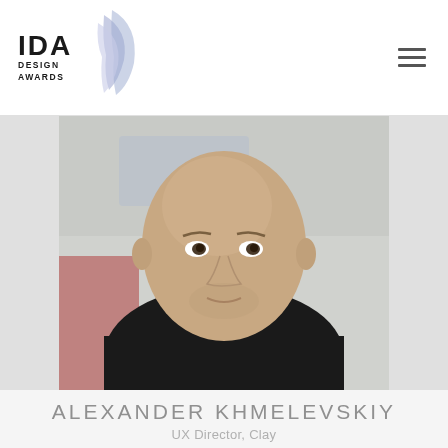[Figure (logo): IDA Design Awards logo with stylized wing/leaf graphic in blue-purple tones]
[Figure (photo): Portrait photo of Alexander Khmelevskiy, a bald man wearing a black shirt, photographed against a blurred light background]
ALEXANDER KHMELEVSKIY
UX Director, Clay